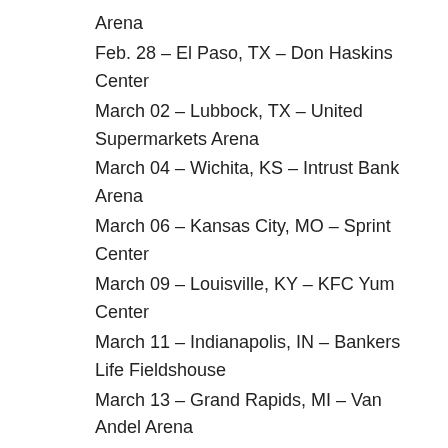Arena
Feb. 28 – El Paso, TX – Don Haskins Center
March 02 – Lubbock, TX – United Supermarkets Arena
March 04 – Wichita, KS – Intrust Bank Arena
March 06 – Kansas City, MO – Sprint Center
March 09 – Louisville, KY – KFC Yum Center
March 11 – Indianapolis, IN – Bankers Life Fieldshouse
March 13 – Grand Rapids, MI – Van Andel Arena
This entry was posted in Music News and tagged Hardwired... to Self-Destruct, Metallica, music, music news,